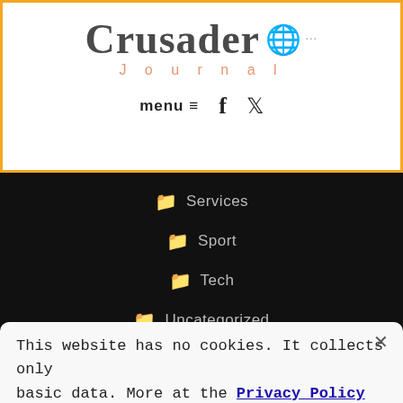Crusader Journal
[Figure (logo): Crusader Journal logo with orange disco ball globe icon and dots, orange 'Journal' subtitle in spaced letters]
menu ≡  f  🐦
📁 Services
📁 Sport
📁 Tech
📁 Uncategorized
This website has no cookies. It collects only basic data. More at the Privacy Policy page.